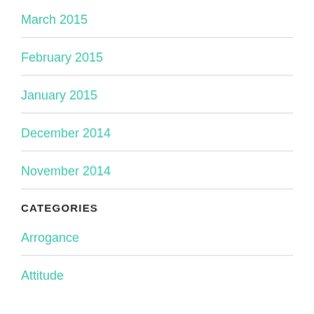March 2015
February 2015
January 2015
December 2014
November 2014
CATEGORIES
Arrogance
Attitude